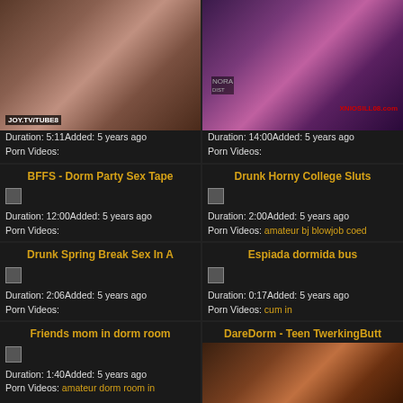[Figure (photo): Video thumbnail - adult content, left top]
Duration: 5:11Added: 5 years ago
Porn Videos:
[Figure (photo): Video thumbnail - adult content, right top]
Duration: 14:00Added: 5 years ago
Porn Videos:
BFFS - Dorm Party Sex Tape
Duration: 12:00Added: 5 years ago
Porn Videos:
Drunk Horny College Sluts
Duration: 2:00Added: 5 years ago
Porn Videos: amateur bj blowjob coed
Drunk Spring Break Sex In A
Duration: 2:06Added: 5 years ago
Porn Videos:
Espiada dormida bus
Duration: 0:17Added: 5 years ago
Porn Videos: cum in
Friends mom in dorm room
Duration: 1:40Added: 5 years ago
Porn Videos: amateur dorm room in
DareDorm - Teen TwerkingButt
[Figure (photo): Video thumbnail - adult content, bottom right]